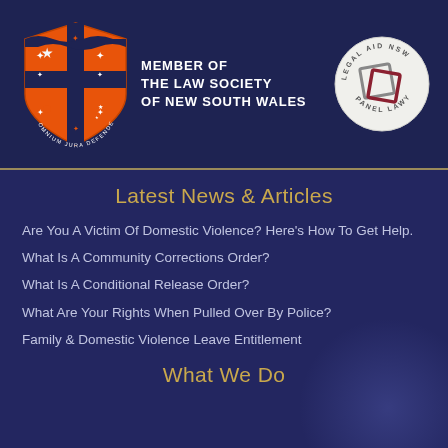[Figure (logo): Law Society of New South Wales shield logo in orange and dark blue with Latin motto]
MEMBER OF THE LAW SOCIETY OF NEW SOUTH WALES
[Figure (logo): Legal Aid NSW Panel Lawyer circular badge with overlapping squares logo]
Latest News & Articles
Are You A Victim Of Domestic Violence? Here's How To Get Help.
What Is A Community Corrections Order?
What Is A Conditional Release Order?
What Are Your Rights When Pulled Over By Police?
Family & Domestic Violence Leave Entitlement
What We Do